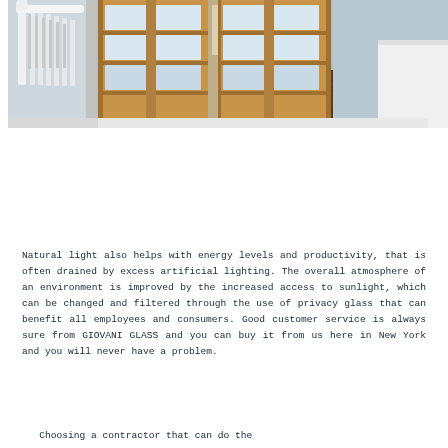[Figure (photo): Interior photo showing wooden French doors with glass panels open to reveal a hallway with hardwood floors. White stair railing visible on the left, light blue walls, and a white surface on the right edge.]
Natural light also helps with energy levels and productivity, that is often drained by excess artificial lighting. The overall atmosphere of an environment is improved by the increased access to sunlight, which can be changed and filtered through the use of privacy glass that can benefit all employees and consumers. Good customer service is always sure from GIOVANI GLASS and you can buy it from us here in New York and you will never have a problem.
Choosing a contractor that can do the